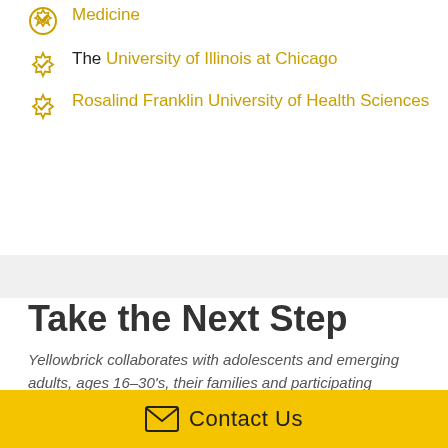Medicine
The University of Illinois at Chicago
Rosalind Franklin University of Health Sciences
Take the Next Step
Yellowbrick collaborates with adolescents and emerging adults, ages 16–30's, their families and participating professionals toward the
Contact Us